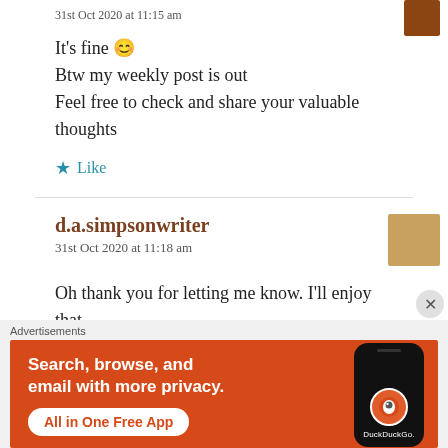31st Oct 2020 at 11:15 am
It's fine 😊
Btw my weekly post is out
Feel free to check and share your valuable thoughts
★ Like
d.a.simpsonwriter
31st Oct 2020 at 11:18 am
Oh thank you for letting me know. I'll enjoy that
[Figure (screenshot): DuckDuckGo advertisement banner: Search, browse, and email with more privacy. All in One Free App. Shows DuckDuckGo logo on a phone graphic.]